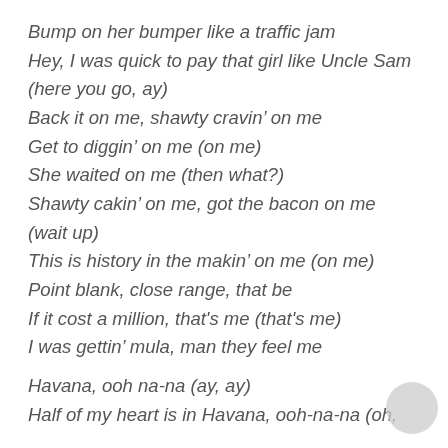Bump on her bumper like a traffic jam
Hey, I was quick to pay that girl like Uncle Sam
(here you go, ay)
Back it on me, shawty cravin’ on me
Get to diggin’ on me (on me)
She waited on me (then what?)
Shawty cakin’ on me, got the bacon on me
(wait up)
This is history in the makin’ on me (on me)
Point blank, close range, that be
If it cost a million, that's me (that's me)
I was gettin’ mula, man they feel me
Havana, ooh na-na (ay, ay)
Half of my heart is in Havana, ooh-na-na (oh,